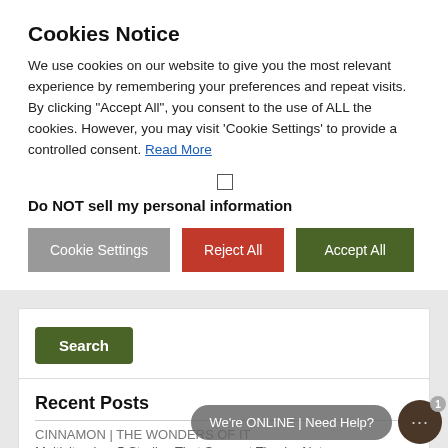Cookies Notice
We use cookies on our website to give you the most relevant experience by remembering your preferences and repeat visits. By clicking "Accept All", you consent to the use of ALL the cookies. However, you may visit 'Cookie Settings' to provide a controlled consent. Read More
Do NOT sell my personal information
Cookie Settings | Reject All | Accept All
Search
Recent Posts
CINNAMON | THE WONDERS OF IT
Multivitamins: 5 Studies That Suggest They're Not
We're ONLINE | Need Help?